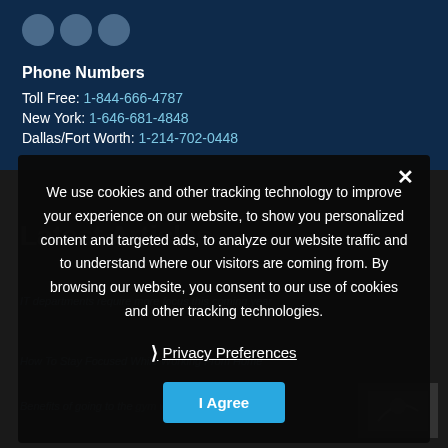Phone Numbers
Toll Free: 1-844-666-4787
New York: 1-646-681-4848
Dallas/Fort Worth: 1-214-702-0448
Latest Articles
IT departments require more focus this coming year
How To Stay Focused While Working From Home
Benefits of going to the gym while dealing with 19
We use cookies and other tracking technology to improve your experience on our website, to show you personalized content and targeted ads, to analyze our website traffic and to understand where our visitors are coming from. By browsing our website, you consent to our use of cookies and other tracking technologies.
Privacy Preferences
I Agree